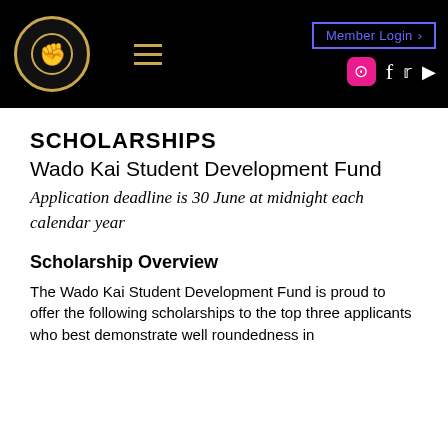Wado Kai Karate — Member Login | Instagram | Facebook | Twitter | YouTube
SCHOLARSHIPS
Wado Kai Student Development Fund
Application deadline is 30 June at midnight each calendar year
Scholarship Overview
The Wado Kai Student Development Fund is proud to offer the following scholarships to the top three applicants who best demonstrate well roundedness in